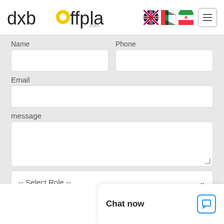[Figure (logo): dxboffplan.com logo with yellow circle magnifier icon]
Name
Phone
Email
message
-- Select Role --
Submit
Chat now